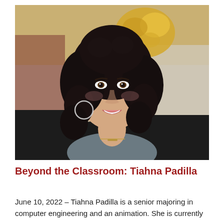[Figure (photo): Professional headshot of Tiahna Padilla, a young woman with curly dark hair, wearing a black blazer over a gray top with a necklace and hoop earrings, smiling, photographed against a blurred interior background with gold decorative elements.]
Beyond the Classroom: Tiahna Padilla
June 10, 2022 – Tiahna Padilla is a senior majoring in computer engineering and an animation. She is currently